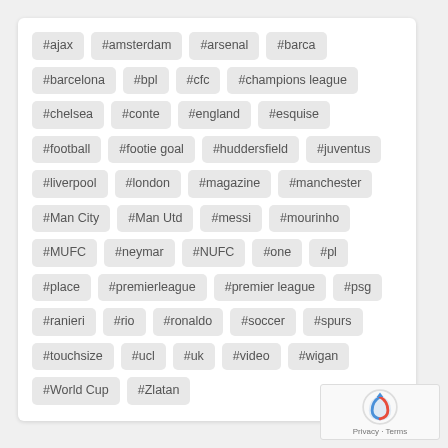#ajax #amsterdam #arsenal #barca #barcelona #bpl #cfc #champions league #chelsea #conte #england #esquise #football #footie goal #huddersfield #juventus #liverpool #london #magazine #manchester #Man City #Man Utd #messi #mourinho #MUFC #neymar #NUFC #one #pl #place #premierleague #premier league #psg #ranieri #rio #ronaldo #soccer #spurs #touchsize #ucl #uk #video #wigan #World Cup #Zlatan